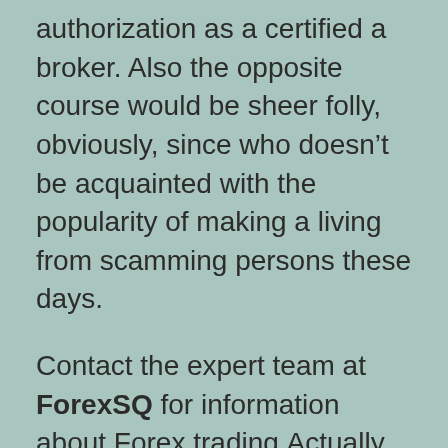authorization as a certified a broker. Also the opposite course would be sheer folly, obviously, since who doesn't be acquainted with the popularity of making a living from scamming persons these days.
Contact the expert team at ForexSQ for information about Forex trading.Actually, in the above paragraph when the “person” is a website which provides to mediate currency trading, numerous people are a lot more believing of the claims. The implementation of a trading software, fine design of a website, the costs of creating a client support staff